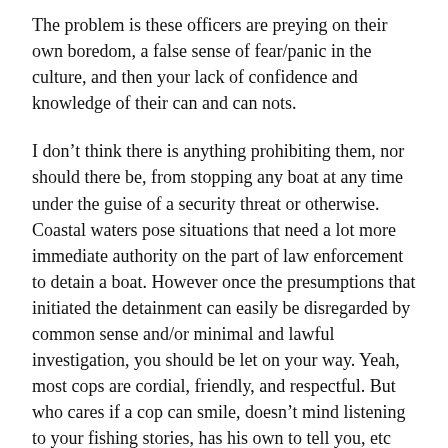The problem is these officers are preying on their own boredom, a false sense of fear/panic in the culture, and then your lack of confidence and knowledge of their can and can nots.
I don't think there is anything prohibiting them, nor should there be, from stopping any boat at any time under the guise of a security threat or otherwise. Coastal waters pose situations that need a lot more immediate authority on the part of law enforcement to detain a boat. However once the presumptions that initiated the detainment can easily be disregarded by common sense and/or minimal and lawful investigation, you should be let on your way. Yeah, most cops are cordial, friendly, and respectful. But who cares if a cop can smile, doesn't mind listening to your fishing stories, has his own to tell you, etc etc, if you're not allowed to move along freely, timely, and lawfully?